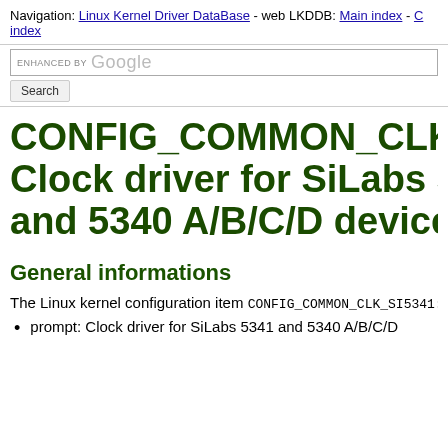Navigation: Linux Kernel Driver DataBase - web LKDDB: Main index - C index
CONFIG_COMMON_CLK_SI5... Clock driver for SiLabs 5341 and 5340 A/B/C/D devices
General informations
The Linux kernel configuration item CONFIG_COMMON_CLK_SI5341:
prompt: Clock driver for SiLabs 5341 and 5340 A/B/C/D